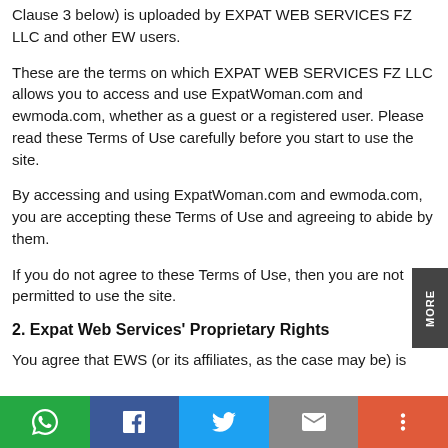Clause 3 below) is uploaded by EXPAT WEB SERVICES FZ LLC and other EW users.
These are the terms on which EXPAT WEB SERVICES FZ LLC allows you to access and use ExpatWoman.com and ewmoda.com, whether as a guest or a registered user. Please read these Terms of Use carefully before you start to use the site.
By accessing and using ExpatWoman.com and ewmoda.com, you are accepting these Terms of Use and agreeing to abide by them.
If you do not agree to these Terms of Use, then you are not permitted to use the site.
2. Expat Web Services' Proprietary Rights
You agree that EWS (or its affiliates, as the case may be) is